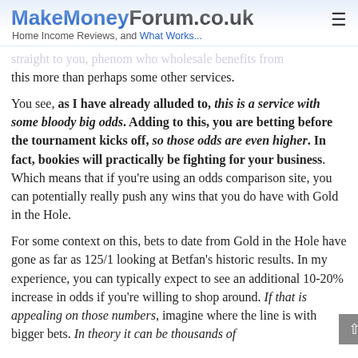MakeMoneyForum.co.uk — Home Income Reviews, and What Works...
this more than perhaps some other services.
You see, as I have already alluded to, this is a service with some bloody big odds. Adding to this, you are betting before the tournament kicks off, so those odds are even higher. In fact, bookies will practically be fighting for your business. Which means that if you're using an odds comparison site, you can potentially really push any wins that you do have with Gold in the Hole.
For some context on this, bets to date from Gold in the Hole have gone as far as 125/1 looking at Betfan's historic results. In my experience, you can typically expect to see an additional 10-20% increase in odds if you're willing to shop around. If that is appealing on those numbers, imagine where the line is with bigger bets. In theory it can be thousands of